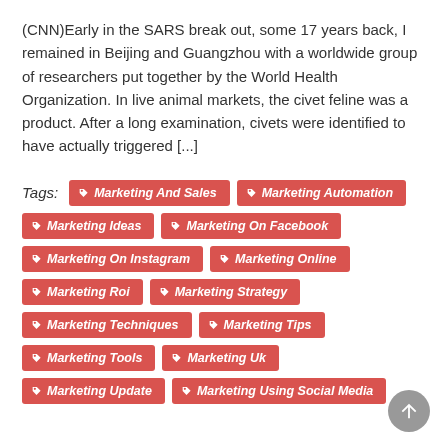(CNN)Early in the SARS break out, some 17 years back, I remained in Beijing and Guangzhou with a worldwide group of researchers put together by the World Health Organization. In live animal markets, the civet feline was a product. After a long examination, civets were identified to have actually triggered [...]
Tags: Marketing And Sales, Marketing Automation, Marketing Ideas, Marketing On Facebook, Marketing On Instagram, Marketing Online, Marketing Roi, Marketing Strategy, Marketing Techniques, Marketing Tips, Marketing Tools, Marketing Uk, Marketing Update, Marketing Using Social Media